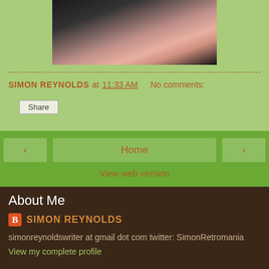[Figure (photo): Cropped photo of a blonde woman against dark background, visible from shoulders up]
SIMON REYNOLDS at 11:33 AM    No comments:
Share
‹   Home   ›
View web version
About Me
SIMON REYNOLDS
simonreynoldswriter at gmail dot com twitter: SimonRetromania
View my complete profile
Powered by Blogger.